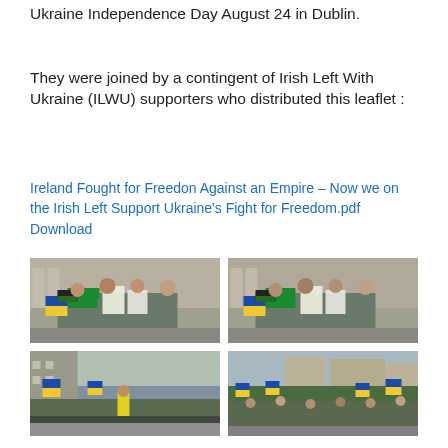Ukraine Independence Day August 24 in Dublin.
They were joined by a contingent of Irish Left With Ukraine (ILWU) supporters who distributed this leaflet :
Ireland Fought for Freedon Against an Empire – Now we on the Irish Left Support Ukraine's Fight for Freedom.pdf   Download
[Figure (photo): Group of people holding signs and flags at a rally, including Ukrainian yellow-blue flag and a black/green flag with a red star. Two similar photos side by side.]
[Figure (photo): Similar group photo slightly different angle.]
[Figure (photo): Crowd at street rally with Ukrainian flags, people in yellow vests.]
[Figure (photo): Wide shot of large crowd at street rally with Ukrainian yellow and blue flags.]